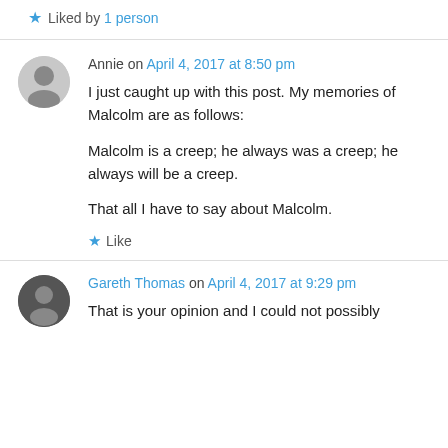Liked by 1 person
Annie on April 4, 2017 at 8:50 pm
I just caught up with this post. My memories of Malcolm are as follows:

Malcolm is a creep; he always was a creep; he always will be a creep.

That all I have to say about Malcolm.
Like
Gareth Thomas on April 4, 2017 at 9:29 pm
That is your opinion and I could not possibly